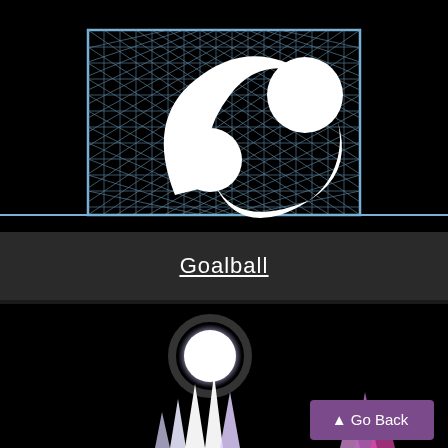[Figure (logo): Goalball sport logo: white crescent/swoosh shape with two white circles on a black background, behind a rectangular goal net with light blue border and diagonal grid pattern]
Goalball
[Figure (screenshot): Dark game or sport scene with a white glowing ball in the center and colorful spike/flame shapes at the bottom, with a purple 'Go Back' button in the lower right corner]